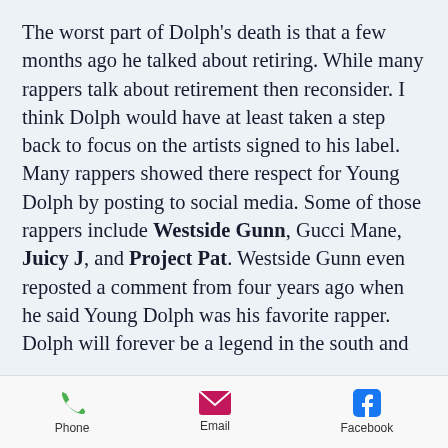The worst part of Dolph's death is that a few months ago he talked about retiring. While many rappers talk about retirement then reconsider. I think Dolph would have at least taken a step back to focus on the artists signed to his label. Many rappers showed there respect for Young Dolph by posting to social media. Some of those rappers include Westside Gunn, Gucci Mane, Juicy J, and Project Pat. Westside Gunn even reposted a comment from four years ago when he said Young Dolph was his favorite rapper. Dolph will forever be a legend in the south and
Phone  Email  Facebook